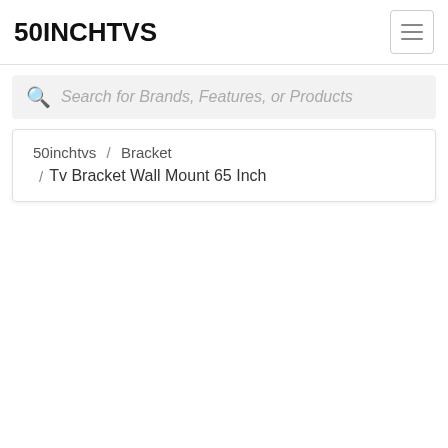50INCHTVS
Search for Brands, Features, or Products
50inchtvs / Bracket / Tv Bracket Wall Mount 65 Inch